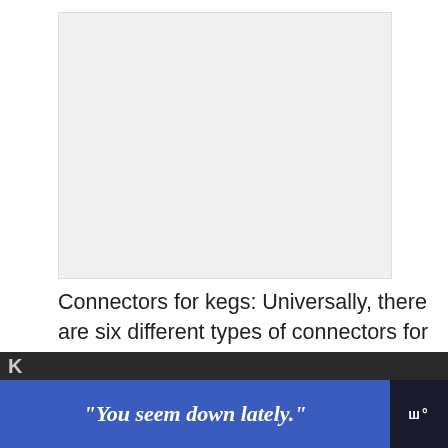[Figure (other): Advertisement placeholder — light gray rectangle]
Connectors for kegs: Universally, there are six different types of connectors for kegs. America uses the D-type (D stands for Domestic) while European taps deploy S-type connectors, the German taps adapt to A and M–type connectors. Ensure that you have the correct type of connectors. You don't keep your guests thirsty, do you?
[Figure (other): UI overlay: heart (like) button in red circle, share button in dark circle, and 'What's Next' thumbnail with label '5 Best Kegs for Home...']
K
[Figure (other): Advertisement banner with text: "You seem down lately." on blue background]